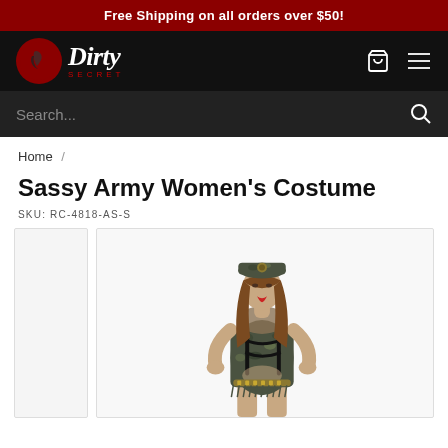Free Shipping on all orders over $50!
[Figure (logo): Dirty Secret logo with red circle containing silhouette and cursive Dirty text with SECRET below in red]
Sassy Army Women's Costume
SKU: RC-4818-AS-S
[Figure (photo): Woman wearing a sassy army costume consisting of camouflage mini dress with black harness details, camouflage military cap, fishnet top, and bullet belt accessories]